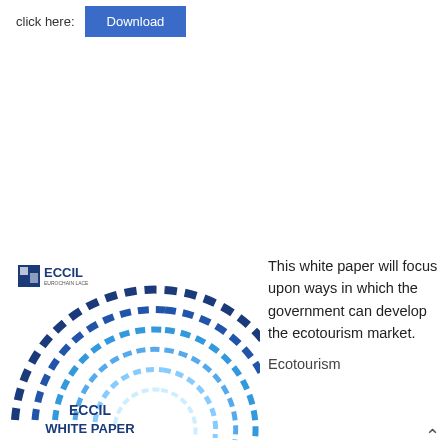click here:
Download
[Figure (illustration): ECCIL White Paper book cover with circular blue geometric pattern and ECCIL logo]
This white paper will focus upon ways in which the government can develop the ecotourism market. Ecotourism